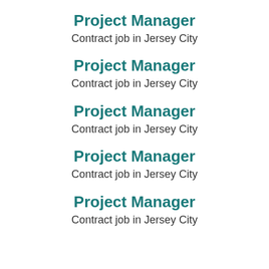Project Manager
Contract job in Jersey City
Project Manager
Contract job in Jersey City
Project Manager
Contract job in Jersey City
Project Manager
Contract job in Jersey City
Project Manager
Contract job in Jersey City